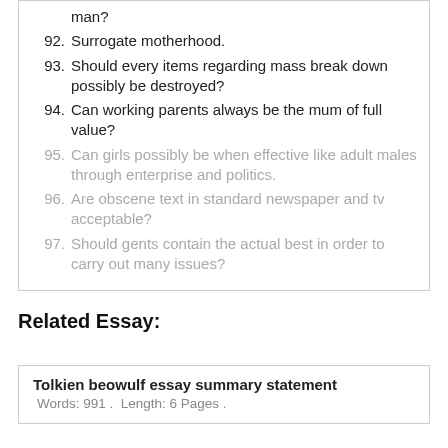man?
92. Surrogate motherhood.
93. Should every items regarding mass break down possibly be destroyed?
94. Can working parents always be the mum of full value?
95. Can girls possibly be when effective like adult males through enterprise and politics.
96. Are obscene text in standard newspaper and tv acceptable?
97. Should gents contain the actual best in order to carry out many issues?
Related Essay:
Tolkien beowulf essay summary statement
Words: 991 .  Length: 6 Pages .